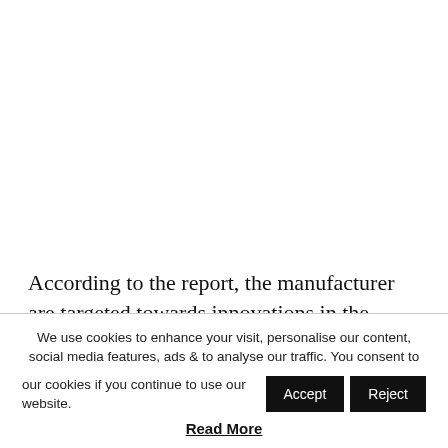According to the report, the manufacturer are targeted towards innovations in the continuous patient monitoring field. Some innovations include the
We use cookies to enhance your visit, personalise our content, social media features, ads & to analyse our traffic. You consent to our cookies if you continue to use our website.
Read More